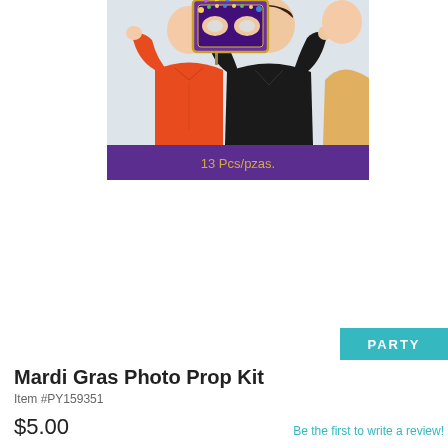[Figure (photo): Product photo showing two people holding Mardi Gras photo props including a decorative glittery mask frame on a stick, one person in a red shirt and one in a black shirt, with a purple banner at the bottom reading '13 Pcs/pzas.']
PARTY
Mardi Gras Photo Prop Kit
Item #PY159351
$5.00
Be the first to write a review!